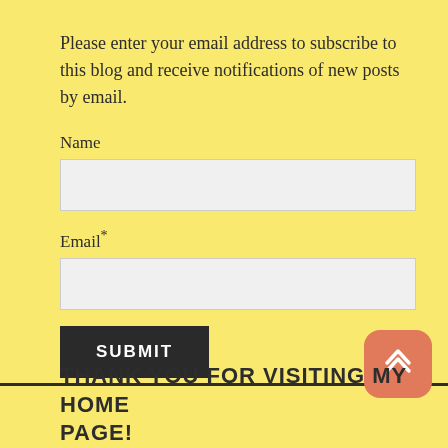Please enter your email address to subscribe to this blog and receive notifications of new posts by email.
Name
Email*
SUBMIT
THANK YOU FOR VISITING MY HOME PAGE!